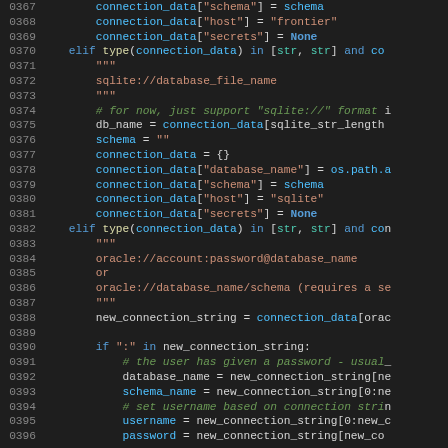Source code listing, lines 0367–0396, Python code snippet showing database connection handling logic